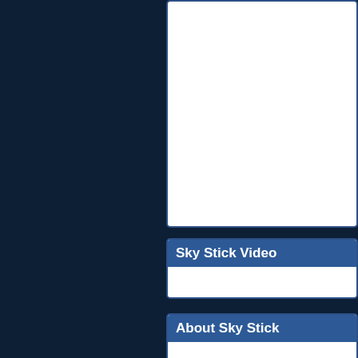Sky Stick Video
About Sky Stick